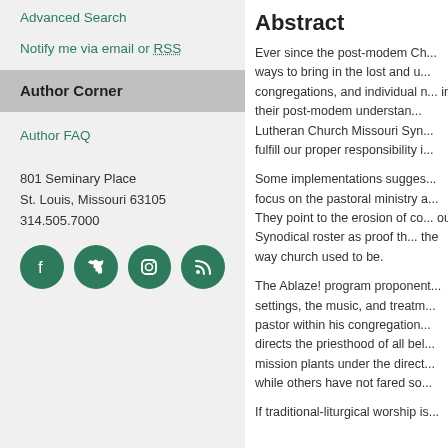Advanced Search
Notify me via email or RSS
Author Corner
Author FAQ
801 Seminary Place
St. Louis, Missouri 63105
314.505.7000
[Figure (infographic): Social media icons: Facebook, Twitter, Instagram, RSS feed — dark green circles with white icons]
Abstract
Ever since the post-modem Ch... ways to bring in the lost and u... congregations, and individual n... in their post-modem understan... Lutheran Church Missouri Syn... fulfill our proper responsibility i...
Some implementations sugges... focus on the pastoral ministry a... They point to the erosion of co... our Synodical roster as proof th... the way church used to be.
The Ablaze! program proponent... settings, the music, and treatm... pastor within his congregation... directs the priesthood of all bel... mission plants under the direct... while others have not fared so...
If traditional-liturgical worship is...